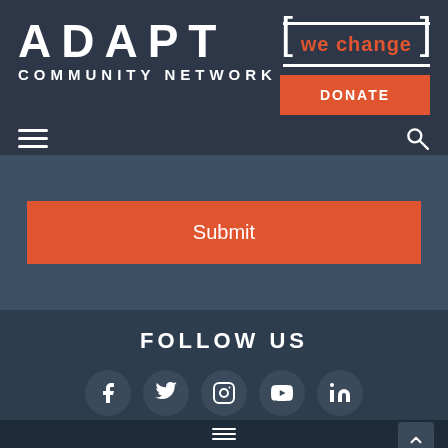[Figure (logo): ADAPT Community Network logo with white bracket and 'we change' text in orange, DONATE button]
[Figure (screenshot): Submit button (orange) on dark blue-gray background]
FOLLOW US
[Figure (infographic): Row of five social media icons: Facebook, Twitter, Instagram, YouTube, LinkedIn in dark circular buttons]
[Figure (screenshot): Back to top arrow button, bottom navigation hamburger menu]